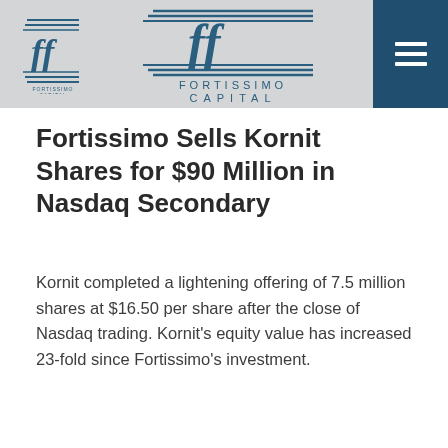[Figure (logo): Fortissimo Capital logo - small version with ff monogram and horizontal lines, left side of header]
[Figure (logo): Fortissimo Capital logo - large version with ff monogram and FORTISSIMO CAPITAL text, center of header]
[Figure (other): Dark blue hamburger menu button with three horizontal white lines, top right corner]
Fortissimo Sells Kornit Shares for $90 Million in Nasdaq Secondary
Kornit completed a lightening offering of 7.5 million shares at $16.50 per share after the close of Nasdaq trading. Kornit's equity value has increased 23-fold since Fortissimo's investment.